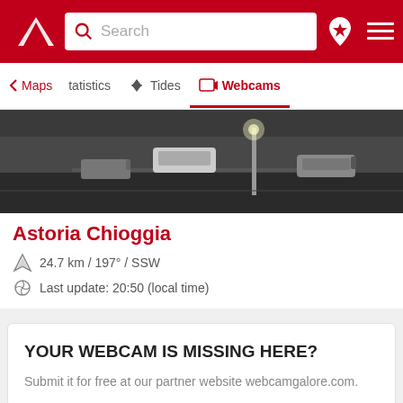Search | Maps | Statistics | Tides | Webcams
[Figure (screenshot): Webcam image showing a parking area with cars and a street light, taken at night/dusk in grayscale]
Astoria Chioggia
24.7 km / 197° / SSW
Last update: 20:50 (local time)
YOUR WEBCAM IS MISSING HERE?
Submit it for free at our partner website webcamgalore.com.